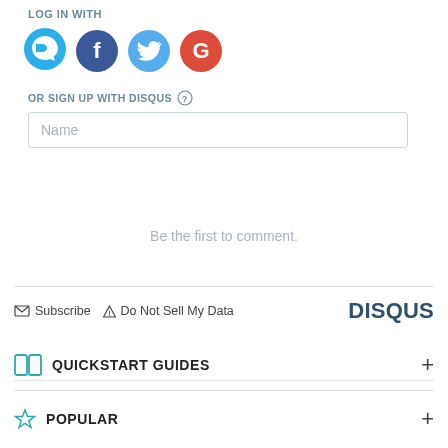LOG IN WITH
[Figure (illustration): Social login icons: Disqus (blue chat bubble with D), Facebook (dark blue circle with f), Twitter (light blue circle with bird), Google (red circle with G)]
OR SIGN UP WITH DISQUS ?
Name
Be the first to comment.
Subscribe  Do Not Sell My Data  DISQUS
QUICKSTART GUIDES
POPULAR